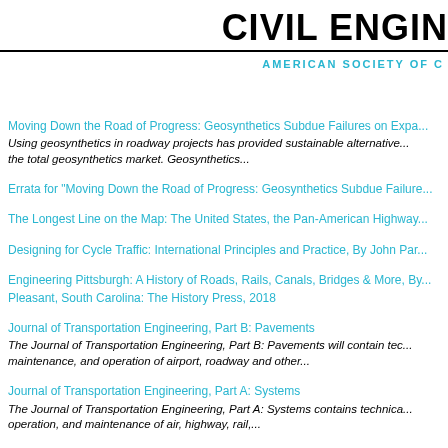CIVIL ENGIN...
AMERICAN SOCIETY OF C...
Moving Down the Road of Progress: Geosynthetics Subdue Failures on Expa...
Using geosynthetics in roadway projects has provided sustainable alternative... the total geosynthetics market. Geosynthetics...
Errata for "Moving Down the Road of Progress: Geosynthetics Subdue Failure...
The Longest Line on the Map: The United States, the Pan-American Highway...
Designing for Cycle Traffic: International Principles and Practice, By John Par...
Engineering Pittsburgh: A History of Roads, Rails, Canals, Bridges & More, By... Pleasant, South Carolina: The History Press, 2018
Journal of Transportation Engineering, Part B: Pavements
The Journal of Transportation Engineering, Part B: Pavements will contain tec... maintenance, and operation of airport, roadway and other...
Journal of Transportation Engineering, Part A: Systems
The Journal of Transportation Engineering, Part A: Systems contains technica... operation, and maintenance of air, highway, rail,...